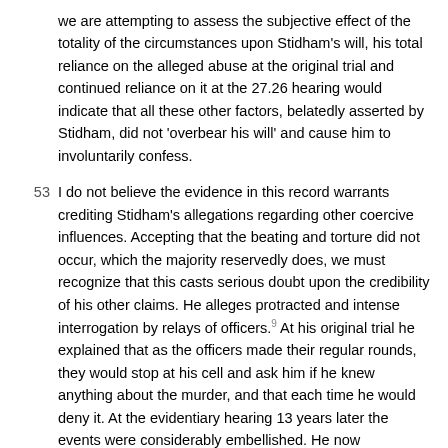we are attempting to assess the subjective effect of the totality of the circumstances upon Stidham's will, his total reliance on the alleged abuse at the original trial and continued reliance on it at the 27.26 hearing would indicate that all these other factors, belatedly asserted by Stidham, did not 'overbear his will' and cause him to involuntarily confess.
53 I do not believe the evidence in this record warrants crediting Stidham's allegations regarding other coercive influences. Accepting that the beating and torture did not occur, which the majority reservedly does, we must recognize that this casts serious doubt upon the credibility of his other claims. He alleges protracted and intense interrogation by relays of officers.9 At his original trial he explained that as the officers made their regular rounds, they would stop at his cell and ask him if he knew anything about the murder, and that each time he would deny it. At the evidentiary hearing 13 years later the events were considerably embellished. He now remembers that immediately upon his return to his cell these groups of officers began questioning him and making threats, even that they would shoot him if he didn't tell what he knew.
54 The majority states that Stidham was deprived of food and water